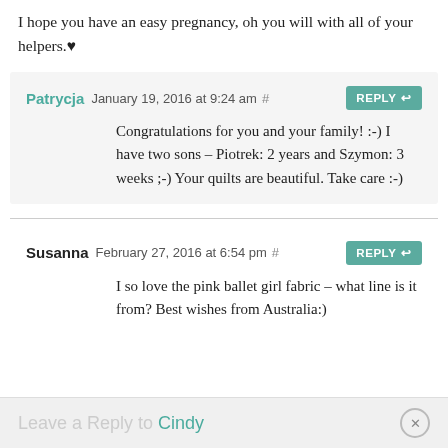I hope you have an easy pregnancy, oh you will with all of your helpers.♥
Patrycja January 19, 2016 at 9:24 am # REPLY
Congratulations for you and your family! :-) I have two sons – Piotrek: 2 years and Szymon: 3 weeks ;-) Your quilts are beautiful. Take care :-)
Susanna February 27, 2016 at 6:54 pm # REPLY
I so love the pink ballet girl fabric – what line is it from? Best wishes from Australia:)
Leave a Reply to Cindy